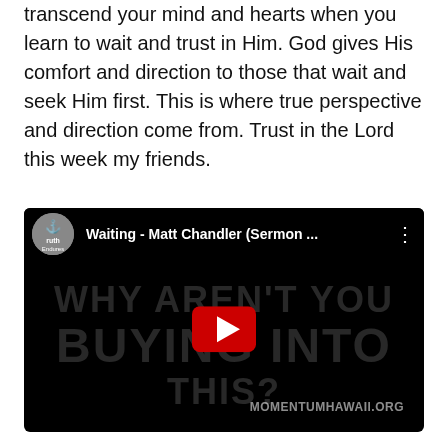transcend your mind and hearts when you learn to wait and trust in Him. God gives His comfort and direction to those that wait and seek Him first. This is where true perspective and direction come from. Trust in the Lord this week my friends.
[Figure (screenshot): YouTube video embed thumbnail showing a dark background with large text 'WHY AREN'T YOU BUYING INTO THIS?' with a Truth Endures channel icon, title 'Waiting - Matt Chandler (Sermon ...' and a red YouTube play button in the center. Bottom right shows 'MOMENTUMHAWAII.ORG'.]